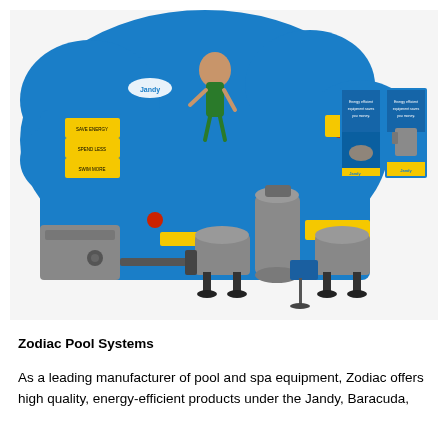[Figure (photo): A retail display showing Zodiac/Jandy pool equipment including pumps, filters, and a large branded backdrop with blue wave design featuring a child swimming and the text 'SAVE ENERGY SPEND LESS SWIM MORE'. To the right are two marketing posters/brochures showing a swimmer underwater in blue and yellow design, and a tablet/kiosk stand.]
Zodiac Pool Systems
As a leading manufacturer of pool and spa equipment, Zodiac offers high quality, energy-efficient products under the Jandy, Baracuda,